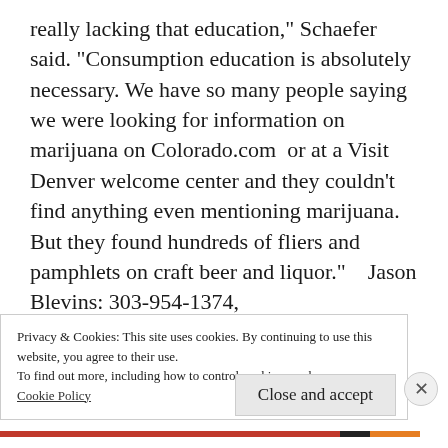really lacking that education," Schaefer said. "Consumption education is absolutely necessary. We have so many people saying we were looking for information on marijuana on Colorado.com  or at a Visit Denver welcome center and they couldn’t find anything even mentioning marijuana. But they found hundreds of fliers and pamphlets on craft beer and liquor."   Jason Blevins: 303-954-1374, jblevins@denverpost.com  or @jasonblevins
Privacy & Cookies: This site uses cookies. By continuing to use this website, you agree to their use.
To find out more, including how to control cookies, see here:
Cookie Policy
Close and accept